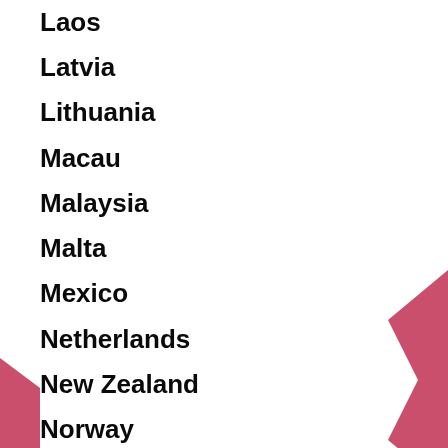Laos
Latvia
Lithuania
Macau
Malaysia
Malta
Mexico
Netherlands
New Zealand
Norway
Nicaragua
Panama
Paraguay
Peru
Philippines
Poland
Portugal
Singapore
Slovakia